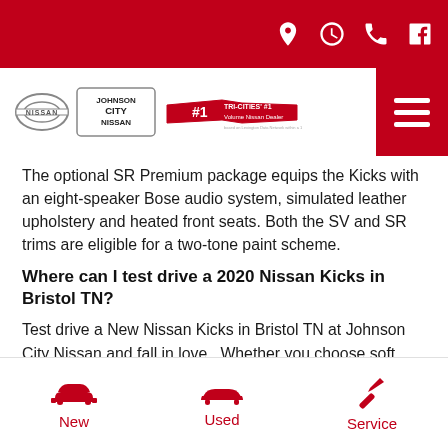Johnson City Nissan - Tri-Cities #1 Volume Nissan Dealer
The optional SR Premium package equips the Kicks with an eight-speaker Bose audio system, simulated leather upholstery and heated front seats. Both the SV and SR trims are eligible for a two-tone paint scheme.
Where can I test drive a 2020 Nissan Kicks in Bristol TN?
Test drive a New Nissan Kicks in Bristol TN at Johnson City Nissan and fall in love.. Whether you choose soft cloth seats or simulated leather seats, you'll find that sitting in a New Nissan Kicks seems natural and right.
New | Used | Service